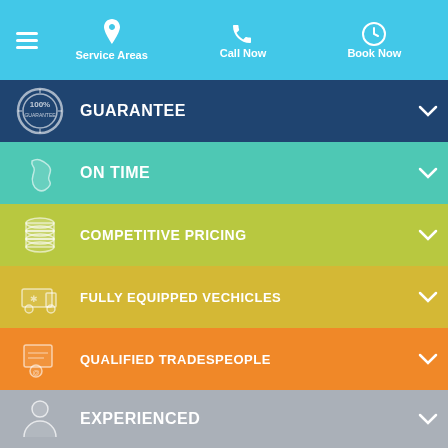Service Areas | Call Now | Book Now
GUARANTEE
ON TIME
COMPETITIVE PRICING
FULLY EQUIPPED VECHICLES
QUALIFIED TRADESPEOPLE
EXPERIENCED